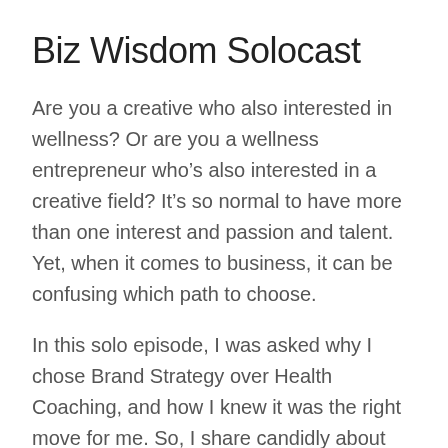Biz Wisdom Solocast
Are you a creative who also interested in wellness? Or are you a wellness entrepreneur who’s also interested in a creative field? It’s so normal to have more than one interest and passion and talent. Yet, when it comes to business, it can be confusing which path to choose.
In this solo episode, I was asked why I chose Brand Strategy over Health Coaching, and how I knew it was the right move for me. So, I share candidly about why I made the switch and what was happening circumstantially to propel me in that direction.
I also share my usual house update with you. Aside from the project we’re working on right now – it involves wallpaper! –